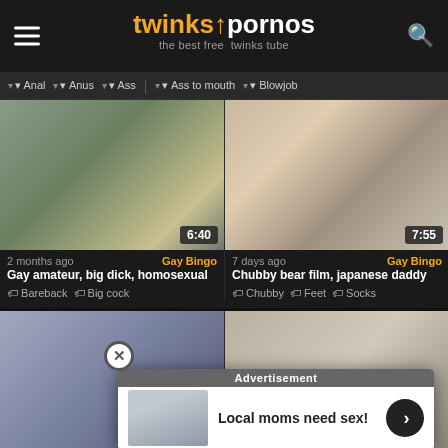twinkspornos — the best free twinks tube
Anal · Anus · Ass · Ass to mouth · Blowjob
[Figure (photo): Video thumbnail showing two figures on a yoga mat, duration 6:40]
2 months ago — Gay Bingo
Gay amateur, big dick, homosexual
Bareback · Big cock
[Figure (photo): Video thumbnail showing two people on a bed, duration 7:55]
7 days ago — Gay Bingo
Chubby bear film, japanese daddy
Chubby · Feet · Socks
[Figure (photo): Video thumbnail (lower left), partially visible]
[Figure (photo): Video thumbnail (lower right), partially visible]
Advertisement — Local moms need sex!